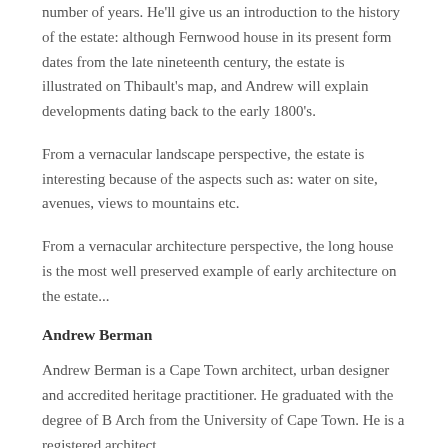number of years. He'll give us an introduction to the history of the estate: although Fernwood house in its present form dates from the late nineteenth century, the estate is illustrated on Thibault's map, and Andrew will explain developments dating back to the early 1800's.
From a vernacular landscape perspective, the estate is interesting because of the aspects such as: water on site, avenues, views to mountains etc.
From a vernacular architecture perspective, the long house is the most well preserved example of early architecture on the estate...
Andrew Berman
Andrew Berman is a Cape Town architect, urban designer and accredited heritage practitioner. He graduated with the degree of B Arch from the University of Cape Town. He is a registered architect